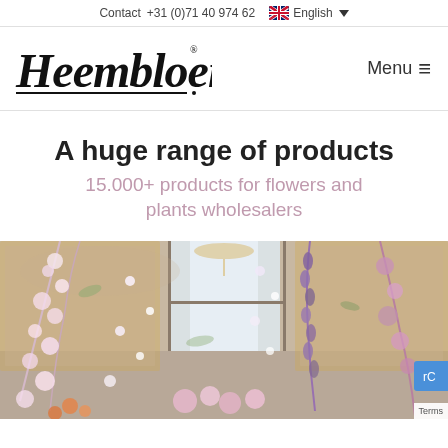Contact +31 (0)71 40 974 62  English
[Figure (logo): Heembloemex handwritten logo with registered trademark symbol]
Menu ≡
A huge range of products
15.000+ products for flowers and plants wholesalers
[Figure (photo): Elegant room with large windows, ornate gold-framed mirrors, and elaborate floral arrangements featuring cascading white, pink, and purple flowers including cherry blossoms and delphiniums]